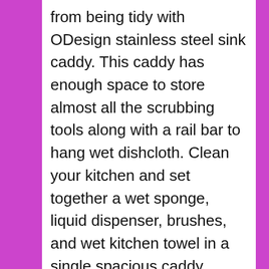from being tidy with ODesign stainless steel sink caddy. This caddy has enough space to store almost all the scrubbing tools along with a rail bar to hang wet dishcloth. Clean your kitchen and set together a wet sponge, liquid dispenser, brushes, and wet kitchen towel in a single spacious caddy.
ODesign kitchen caddy is made of rustproof stainless steel to last it for a long time. For the spotless countertop, there is a plastic tray under the steel rack to collect the excess water from the wet tool.  You can withdraw this tray without any extra effort for drainage. This sliding tray keeps the base rust free and upturns the life of the